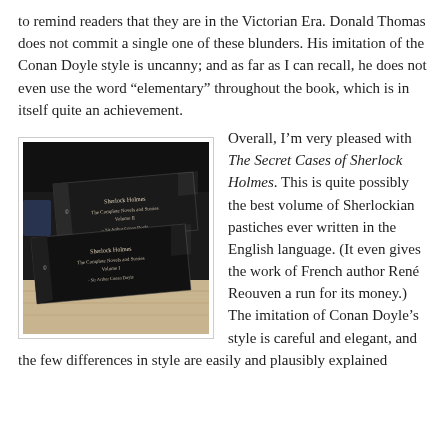to remind readers that they are in the Victorian Era. Donald Thomas does not commit a single one of these blunders. His imitation of the Conan Doyle style is uncanny; and as far as I can recall, he does not even use the word “elementary” throughout the book, which is in itself quite an achievement.
[Figure (photo): Two stacked black books: 'Sherlock Holmes The Complete Novels and Stories Volume II' and 'Volume I', both by Sir Arthur Conan Doyle, lying on a wooden surface.]
Overall, I’m very pleased with The Secret Cases of Sherlock Holmes. This is quite possibly the best volume of Sherlockian pastiches ever written in the English language. (It even gives the work of French author René Reouven a run for its money.) The imitation of Conan Doyle’s style is careful and elegant, and the few differences in style are easily and plausibly explained